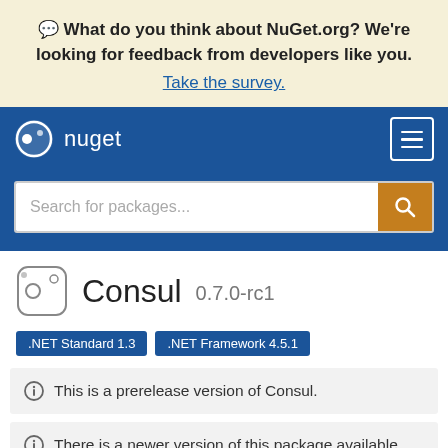💬 What do you think about NuGet.org? We're looking for feedback from developers like you. Take the survey.
[Figure (logo): NuGet logo and navigation bar with hamburger menu]
Search for packages...
Consul 0.7.0-rc1
.NET Standard 1.3   .NET Framework 4.5.1
ⓘ This is a prerelease version of Consul.
ⓘ There is a newer version of this package available